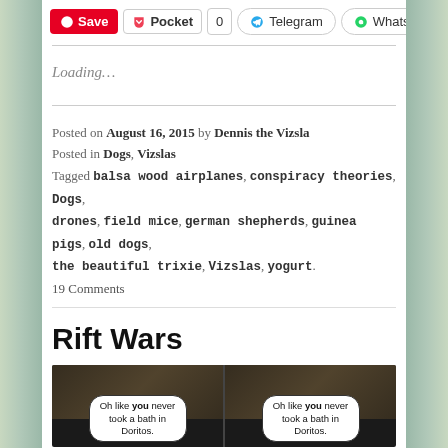Save | Pocket | 0 | Telegram | WhatsApp
Loading…
Posted on August 16, 2015 by Dennis the Vizsla
Posted in Dogs, Vizslas
Tagged balsa wood airplanes, conspiracy theories, Dogs, drones, field mice, german shepherds, guinea pigs, old dogs, the beautiful trixie, Vizslas, yogurt.
19 Comments
Rift Wars
[Figure (screenshot): Comic strip in two panels on a dark background, each panel showing a dog in a bathtub with a speech bubble reading: Oh like you never took a bath in Doritos.]